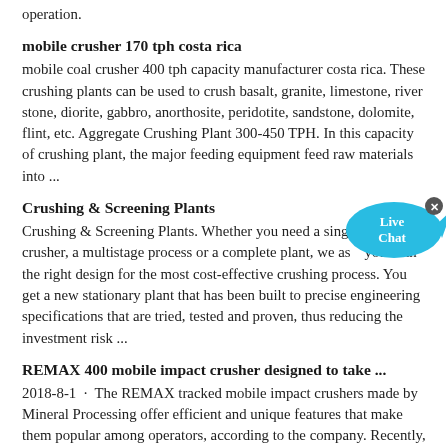operation.
mobile crusher 170 tph costa rica
mobile coal crusher 400 tph capacity manufacturer costa rica. These crushing plants can be used to crush basalt, granite, limestone, river stone, diorite, gabbro, anorthosite, peridotite, sandstone, dolomite, flint, etc. Aggregate Crushing Plant 300-450 TPH. In this capacity of crushing plant, the major feeding equipment feed raw materials into ...
Crushing & Screening Plants
Crushing & Screening Plants. Whether you need a single crusher, a multistage process or a complete plant, we assist you with the right design for the most cost-effective crushing process. You get a new stationary plant that has been built to precise engineering specifications that are tried, tested and proven, thus reducing the investment risk ...
REMAX 400 mobile impact crusher designed to take ...
2018-8-1 · The REMAX tracked mobile impact crushers made by Mineral Processing offer efficient and unique features that make them popular among operators, according to the company. Recently, the models have another update. The REMAX 400 is a performance-optimized, medium-class crusher for quarries and recycling of construction materials.
KPI-JCI Crusher Aggregate Equipment For Sale
Browse our inventory of new and used KPI-JCI Crusher